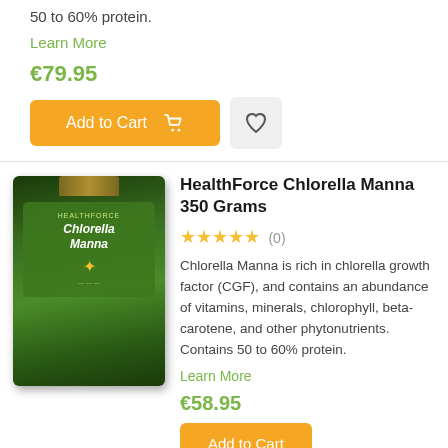50 to 60% protein.
Learn More
€79.95
[Figure (other): Add to Cart button with shopping cart icon and wishlist heart button]
[Figure (photo): HealthForce Chlorella Manna 350 Grams product bottle with dark glass jar, gold cap, and green label]
HealthForce Chlorella Manna 350 Grams
★★★★★ (0)
Chlorella Manna is rich in chlorella growth factor (CGF), and contains an abundance of vitamins, minerals, chlorophyll, beta-carotene, and other phytonutrients. Contains 50 to 60% protein.
Learn More
€58.95